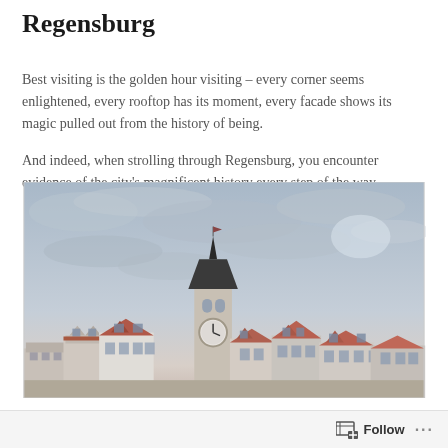Regensburg
Best visiting is the golden hour visiting – every corner seems enlightened, every rooftop has its moment, every facade shows its magic pulled out from the history of being.
And indeed, when strolling through Regensburg, you encounter evidence of the city's magnificent history every step of the way.
[Figure (photo): Cityscape of Regensburg at dusk/overcast light, showing red-roofed historic buildings and a prominent square clock tower in the center, against a grey cloudy sky with subtle warm tones near the horizon.]
Follow  ...